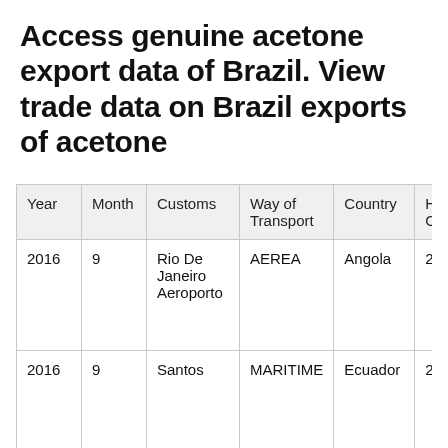Access genuine acetone export data of Brazil. View trade data on Brazil exports of acetone
| Year | Month | Customs | Way of Transport | Country | HS Cod... |
| --- | --- | --- | --- | --- | --- |
| 2016 | 9 | Rio De Janeiro Aeroporto | AEREA | Angola | 291413... |
| 2016 | 9 | Santos | MARITIME | Ecuador | 291413... |
|  |  |  |  |  |  |